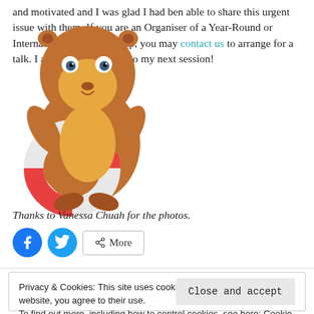and motivated and I was glad I had ben able to share this urgent issue with them. If you are an Organiser of a Year-Round or International Coast Cleanup, you may contact us to arrange for a talk. I am looking forward to my next session!
Thanks to Vanessa Chuah for the photos.
[Figure (illustration): Cartoon otter holding a life preserver ring, colored in brown and yellow with a red-and-white ring]
Privacy & Cookies: This site uses cookies. By continuing to use this website, you agree to their use.
To find out more, including how to control cookies, see here: Cookie Policy
Close and accept